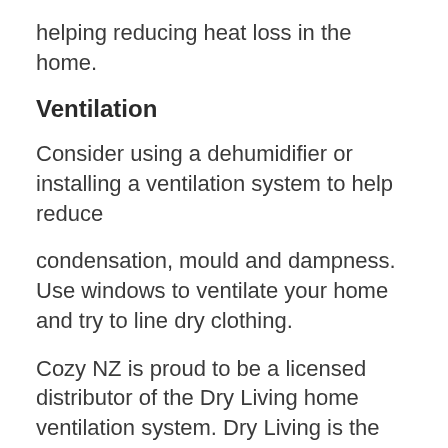helping reducing heat loss in the home.
Ventilation
Consider using a dehumidifier or installing a ventilation system to help reduce
condensation, mould and dampness. Use windows to ventilate your home and try to line dry clothing.
Cozy NZ is proud to be a licensed distributor of the Dry Living home ventilation system. Dry Living is the only ventilation system in New Zealand that has a built-in dehumidifier.